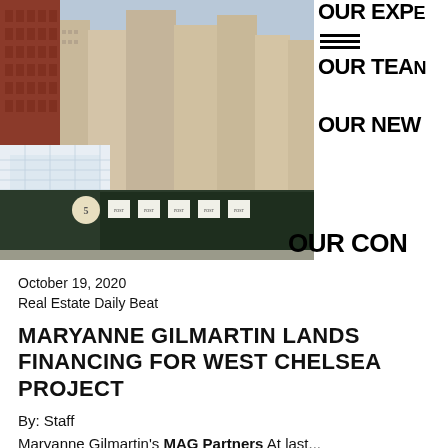[Figure (photo): Urban street-level photograph of New York City buildings and a construction site with dark green barriers. Left side shows a modern white residential building rendering overlaid on the photo. Background shows dense mid-rise Manhattan buildings.]
OUR EXPE
OUR TEAM
OUR NEW
OUR CON
October 19, 2020
Real Estate Daily Beat
MARYANNE GILMARTIN LANDS FINANCING FOR WEST CHELSEA PROJECT
By: Staff
Maryanne Gilmartin's MAG Partners At last...